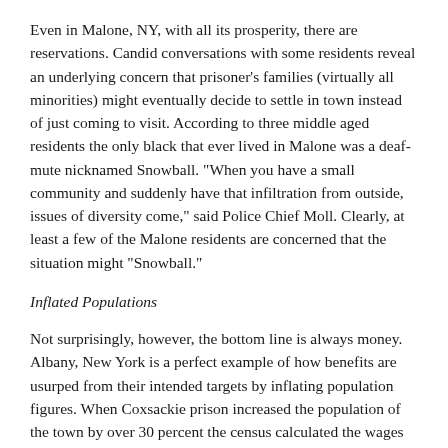Even in Malone, NY, with all its prosperity, there are reservations. Candid conversations with some residents reveal an underlying concern that prisoner's families (virtually all minorities) might eventually decide to settle in town instead of just coming to visit. According to three middle aged residents the only black that ever lived in Malone was a deaf-mute nicknamed Snowball. "When you have a small community and suddenly have that infiltration from outside, issues of diversity come," said Police Chief Moll. Clearly, at least a few of the Malone residents are concerned that the situation might "Snowball."
Inflated Populations
Not surprisingly, however, the bottom line is always money. Albany, New York is a perfect example of how benefits are usurped from their intended targets by inflating population figures. When Coxsackie prison increased the population of the town by over 30 percent the census calculated the wages of prisoners into the average income for Albany residents. Prisoners make between zero and $3,000 per year. The tabulation lowered Albany's average income enough to qualify the town for federal assistance. So on top of jobs, businesses and other fringe benefits the town receives from the prison, they also receive federal money based on blurred statistics-money that would otherwise go to poor urban neighborhoods.